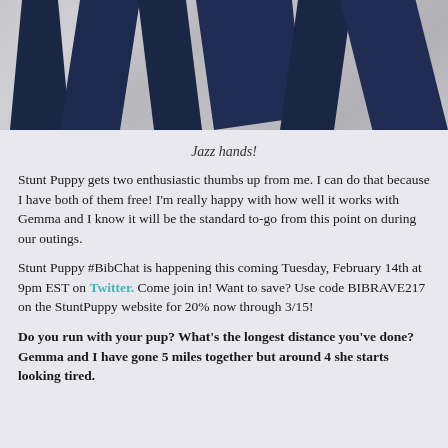[Figure (photo): Close-up photo of dark navy blue fabric or clothing item against a light grey/white background, showing abstract shapes suggesting hands or fingers.]
Jazz hands!
Stunt Puppy gets two enthusiastic thumbs up from me. I can do that because I have both of them free! I'm really happy with how well it works with Gemma and I know it will be the standard to-go from this point on during our outings.
Stunt Puppy #BibChat is happening this coming Tuesday, February 14th at 9pm EST on Twitter. Come join in! Want to save? Use code BIBRAVE217 on the StuntPuppy website for 20% now through 3/15!
Do you run with your pup? What's the longest distance you've done? Gemma and I have gone 5 miles together but around 4 she starts looking tired.